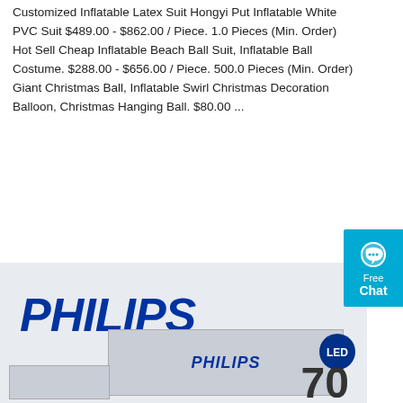Customized Inflatable Latex Suit Hongyi Put Inflatable White PVC Suit $489.00 - $862.00 / Piece. 1.0 Pieces (Min. Order) Hot Sell Cheap Inflatable Beach Ball Suit, Inflatable Ball Costume. $288.00 - $656.00 / Piece. 500.0 Pieces (Min. Order) Giant Christmas Ball, Inflatable Swirl Christmas Decoration Balloon, Christmas Hanging Ball. $80.00 ...
[Figure (screenshot): Orange 'Get Price' button]
[Figure (screenshot): Cyan 'Free Chat' widget on right side]
[Figure (photo): Philips LED product box showing PHILIPS logo in blue italic text, inner box with PHILIPS label, LED badge, and number 70]